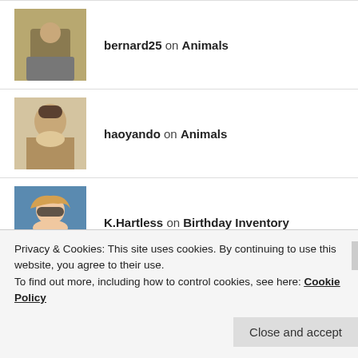bernard25 on Animals
haoyando on Animals
K.Hartless on Birthday Inventory
CASSANDRO on Birthday Inventory
Privacy & Cookies: This site uses cookies. By continuing to use this website, you agree to their use.
To find out more, including how to control cookies, see here: Cookie Policy
Close and accept